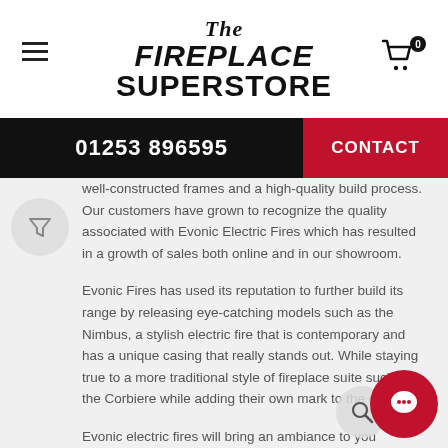The Fireplace Superstore
01253 896595
CONTACT
well-constructed frames and a high-quality build process. Our customers have grown to recognize the quality associated with Evonic Electric Fires which has resulted in a growth of sales both online and in our showroom.
Evonic Fires has used its reputation to further build its range by releasing eye-catching models such as the Nimbus, a stylish electric fire that is contemporary and has a unique casing that really stands out. While staying true to a more traditional style of fireplace suite such as the Corbiere while adding their own mark to the de...
Evonic electric fires will bring an ambiance to your... with a beautiful flame effect for as little as £1.00 per day